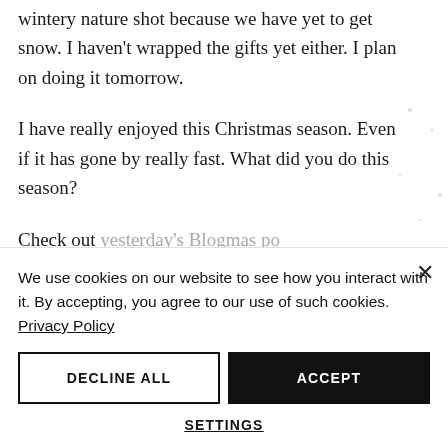wintery nature shot because we have yet to get snow. I haven't wrapped the gifts yet either. I plan on doing it tomorrow.
I have really enjoyed this Christmas season. Even if it has gone by really fast. What did you do this season?
Check out yesterday's Blogmas po... And there are more Christmasy posts too!
We use cookies on our website to see how you interact with it. By accepting, you agree to our use of such cookies. Privacy Policy
DECLINE ALL
ACCEPT
SETTINGS